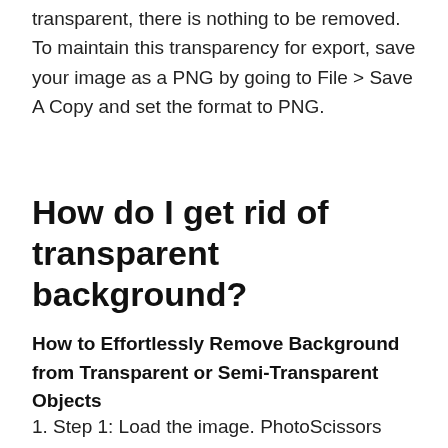transparent, there is nothing to be removed. To maintain this transparency for export, save your image as a PNG by going to File > Save A Copy and set the format to PNG.
How do I get rid of transparent background?
How to Effortlessly Remove Background from Transparent or Semi-Transparent Objects
1. Step 1: Load the image. PhotoScissors